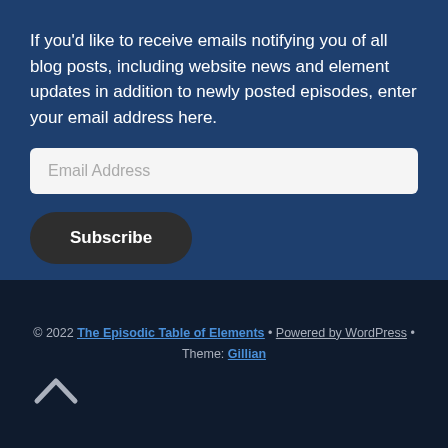If you'd like to receive emails notifying you of all blog posts, including website news and element updates in addition to newly posted episodes, enter your email address here.
Email Address
Subscribe
© 2022 The Episodic Table of Elements • Powered by WordPress • Theme: Gillian